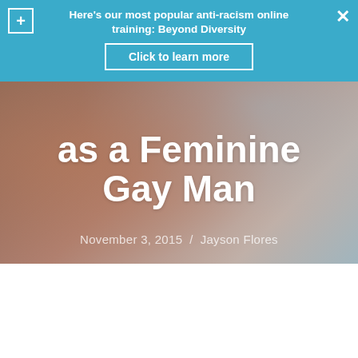[Figure (photo): Hero image of a person's bare shoulder/back, blurred, with large white title text overlaid reading 'as a Feminine Gay Man' and byline 'November 3, 2015 / Jayson Flores']
Here's our most popular anti-racism online training: Beyond Diversity
Click to learn more